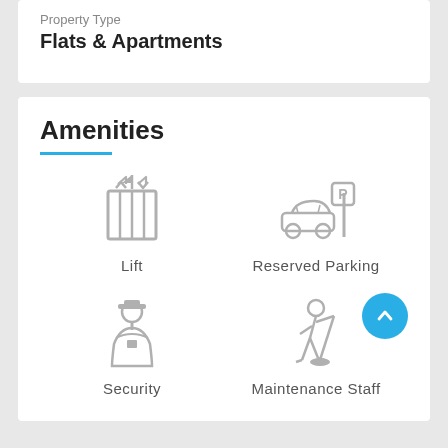Property Type
Flats & Apartments
Amenities
[Figure (infographic): Amenities icons grid: Lift (elevator icon), Reserved Parking (car with P sign), Security (officer icon), Maintenance Staff (janitor icon)]